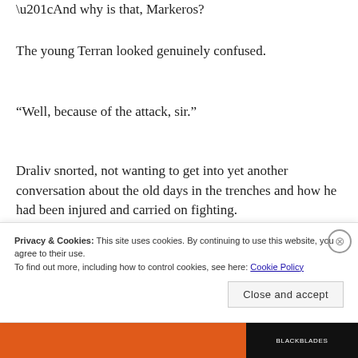“And why is that, Markeros?
The young Terran looked genuinely confused.
“Well, because of the attack, sir.”
Draliv snorted, not wanting to get into yet another conversation about the old days in the trenches and how he had been injured and carried on fighting.
Privacy & Cookies: This site uses cookies. By continuing to use this website, you agree to their use.
To find out more, including how to control cookies, see here: Cookie Policy
Close and accept